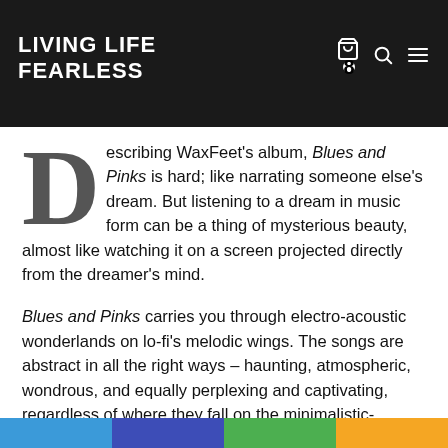LIVING LIFE FEARLESS
Describing WaxFeet's album, Blues and Pinks is hard; like narrating someone else's dream. But listening to a dream in music form can be a thing of mysterious beauty, almost like watching it on a screen projected directly from the dreamer's mind.
Blues and Pinks carries you through electro-acoustic wonderlands on lo-fi's melodic wings. The songs are abstract in all the right ways – haunting, atmospheric, wondrous, and equally perplexing and captivating, regardless of where they fall on the minimalistic-complex and chilled out-intense spectrums.
This album is just meant for movies, especially films in the sci